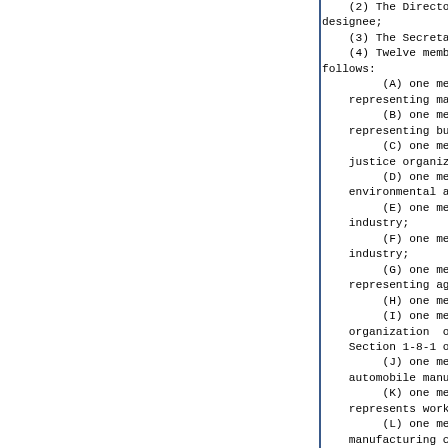(2) The Director of Natu designee;
(3) The Secretary of Tran
(4) Twelve members appoin follows:
(A) one member of a s representing manufacturer
(B) one member of a s representing business int
(C) one member repres justice organization;
(D) one member repres environmental advocacy or
(E) one member repres industry;
(F) one member repres industry;
(G) one member of a s representing agricultural
(H) one member repres
(I) one member repres organization of municip Section 1-8-1 of the Illi
(J) one member from a automobile manufacturers;
(K) one member of a l represents workers in the
(L) one member repres manufacturing community.
(c) The duties and respo include the following: